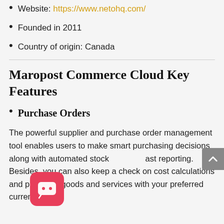Website: https://www.netohq.com/
Founded in 2011
Country of origin: Canada
Maropost Commerce Cloud Key Features
Purchase Orders
The powerful supplier and purchase order management tool enables users to make smart purchasing decisions along with automated stock ast reporting. Besides, you can also keep a check on cost calculations and purchase goods and services with your preferred currency.